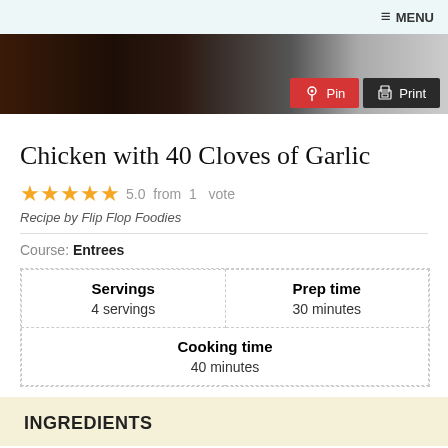≡ MENU
[Figure (photo): Dark food photo banner with Pin and Print buttons]
Chicken with 40 Cloves of Garlic
5.0 from 1 vote
Recipe by Flip Flop Foodies
Course: Entrees
| Servings | Prep time |
| 4 servings | 30 minutes |
| Cooking time |  |
| 40 minutes |  |
INGREDIENTS